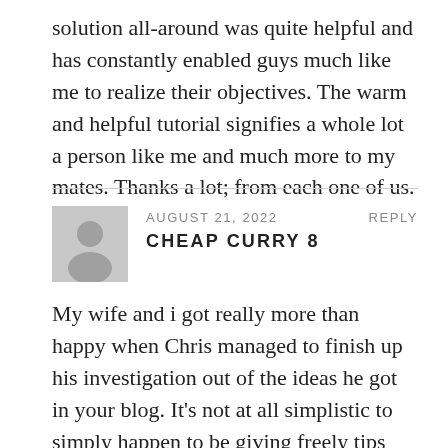solution all-around was quite helpful and has constantly enabled guys much like me to realize their objectives. The warm and helpful tutorial signifies a whole lot a person like me and much more to my mates. Thanks a lot; from each one of us.
AUGUST 21, 2022   REPLY
CHEAP CURRY 8
My wife and i got really more than happy when Chris managed to finish up his investigation out of the ideas he got in your blog. It's not at all simplistic to simply happen to be giving freely tips and tricks that many many others have been selling. We discover we have got the blog owner to thank for that. These explanations you've made, the